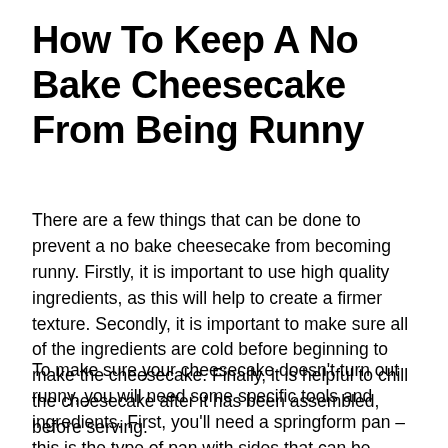How To Keep A No Bake Cheesecake From Being Runny
There are a few things that can be done to prevent a no bake cheesecake from becoming runny. Firstly, it is important to use high quality ingredients, as this will help to create a firmer texture. Secondly, it is important to make sure all of the ingredients are cold before beginning to make the cheesecake. Finally, it is helpful to chill the cheesecake after it has been assembled, before serving.
To make sure your cheesecake doesn't turn out runny, you will need some specific tools and ingredients. First, you'll need a springform pan – this is the type of pan with sides that can be released so the cake can come out easily. Additionally, you'll